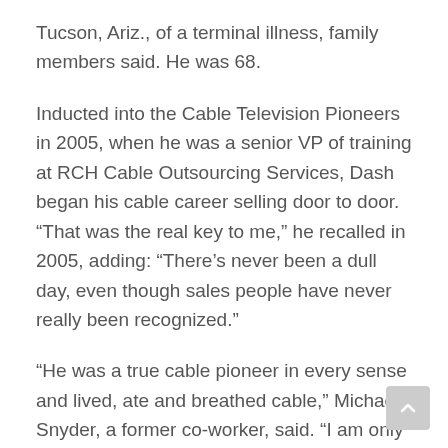Tucson, Ariz., of a terminal illness, family members said. He was 68.
Inducted into the Cable Television Pioneers in 2005, when he was a senior VP of training at RCH Cable Outsourcing Services, Dash began his cable career selling door to door. “That was the real key to me,” he recalled in 2005, adding: “There’s never been a dull day, even though sales people have never really been recognized.”
“He was a true cable pioneer in every sense and lived, ate and breathed cable,” Michael Snyder, a former co-worker, said. “I am only one of